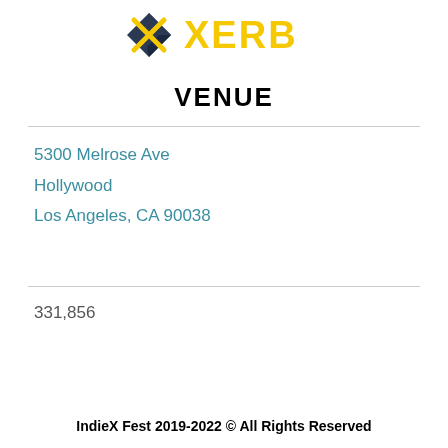[Figure (logo): XERB logo with dark navy bowtie/diamond shape on left and bold yellow 'XERB' text on right]
VENUE
5300 Melrose Ave
Hollywood
Los Angeles, CA 90038
331,856
IndieX Fest 2019-2022 © All Rights Reserved